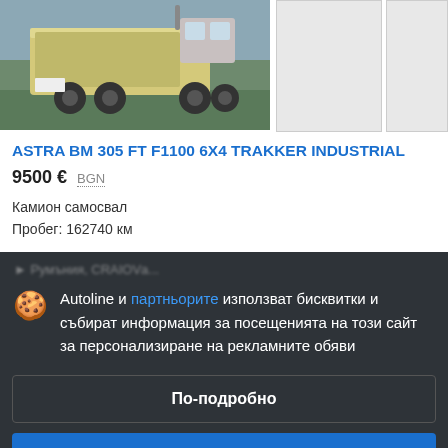[Figure (photo): Photo of ASTRA BM 305 FT F1100 6X4 TRAKKER INDUSTRIAL truck (dump truck), rear/side view in outdoor setting. Two smaller thumbnail placeholder images to the right.]
ASTRA BM 305 FT F1100 6X4 TRAKKER INDUSTRIAL
9500 €  BGN
Камион самосвал
Пробег: 162740 км
Autoline и партньорите използват бисквитки и събират информация за посещенията на този сайт за персонализиране на рекламните обяви
По-подробно
Съгласяване и затваряне